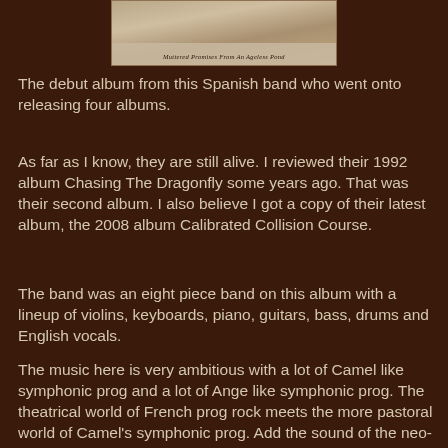[Figure (photo): Album cover image showing a sketch/drawing with text 'Muttered Promises From An Ageless Pond' at the bottom]
The debut album from this Spanish band who went onto releasing four albums.
As far as I know, they are still alive. I reviewed their 1992 album Chasing The Dragonfly some years ago. That was their second album. I also believe I got a copy of their latest album, the 2008 album Calibrated Collision Course.
The band was an eight piece band on this album with a lineup of violins, keyboards, piano, guitars, bass, drums and English vocals.
The music here is very ambitious with a lot of Camel like symphonic prog and a lot of Ange like symphonic prog. The theatrical world of French prog rock meets the more pastoral world of Camel's symphonic prog. Add the sound of the neo-prog scene too and you get this album.